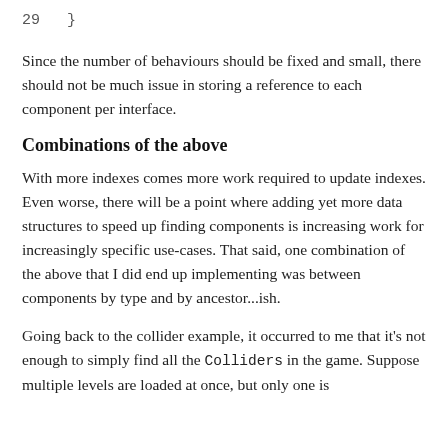29  }
Since the number of behaviours should be fixed and small, there should not be much issue in storing a reference to each component per interface.
Combinations of the above
With more indexes comes more work required to update indexes. Even worse, there will be a point where adding yet more data structures to speed up finding components is increasing work for increasingly specific use-cases. That said, one combination of the above that I did end up implementing was between components by type and by ancestor...ish.
Going back to the collider example, it occurred to me that it's not enough to simply find all the Colliders in the game. Suppose multiple levels are loaded at once, but only one is